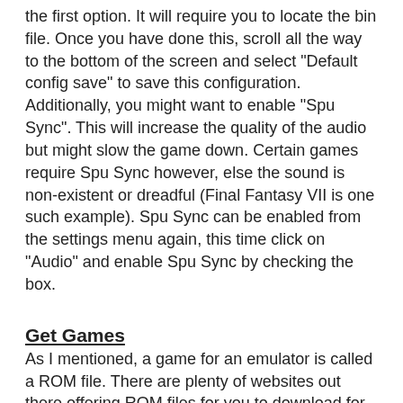the first option. It will require you to locate the bin file. Once you have done this, scroll all the way to the bottom of the screen and select "Default config save" to save this configuration. Additionally, you might want to enable "Spu Sync". This will increase the quality of the audio but might slow the game down. Certain games require Spu Sync however, else the sound is non-existent or dreadful (Final Fantasy VII is one such example). Spu Sync can be enabled from the settings menu again, this time click on "Audio" and enable Spu Sync by checking the box.
Get Games
As I mentioned, a game for an emulator is called a ROM file. There are plenty of websites out there offering ROM files for you to download for free. I have no preference on ROM sites so won't recommend one; instead, Google for "Playstation ROM xx" where xx is the game you want. When you download them, they will typically have a filetype of ecm (or sometimes bin.ecm). For some reason, this won't work directly as is on the tablet. You must convert the file from ecm to bin format (no, you can't just rename it!). To do this,